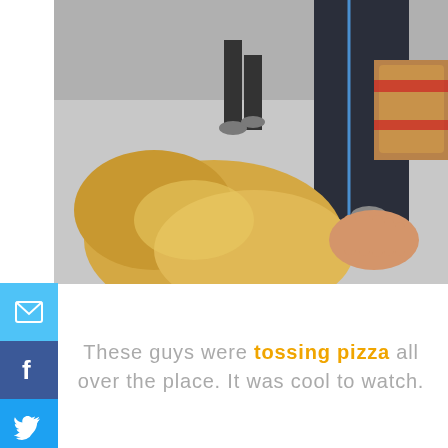[Figure (photo): Top-down outdoor photo showing a person with blonde hair in the foreground, hands clapping, another person in dark tracksuit pants and sneakers walking, and brown sacks stacked in the background]
These guys were tossing pizza all over the place. It was cool to watch.
[Figure (photo): Indoor trade show or expo booth photo showing a large decorative ceramic/figurine character balancing a giant mug on its head, with pendant lights, brand signage including what appears to be AURORA and other logos in the background]